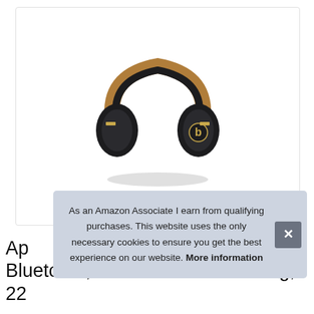[Figure (photo): Beats Studio3 wireless over-ear headphones in black and brown/tan with gold accents, featuring the Beats logo on the right ear cup]
As an Amazon Associate I earn from qualifying purchases. This website uses the only necessary cookies to ensure you get the best experience on our website. More information
Ap... Bluetooth, Active Noise Canceling, 22...